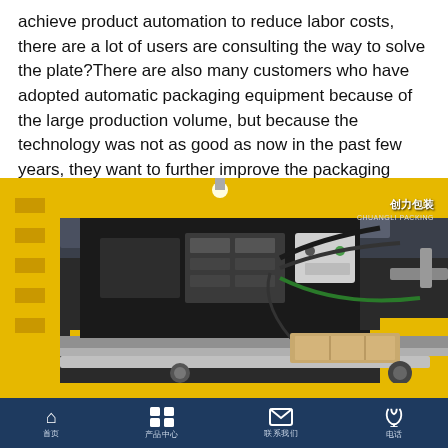achieve product automation to reduce labor costs, there are a lot of users are consulting the way to solve the plate?There are also many customers who have adopted automatic packaging equipment because of the large production volume, but because the technology was not as good as now in the past few years, they want to further improve the packaging efficiency.
[Figure (photo): Industrial automatic packaging machine with yellow steel frame structure, conveyor belt, control electronics, pneumatic components, cables, and a cardboard box on the conveyor. Watermark text '创力包装 / CHUANGLI PACKING' in top right corner.]
首页  产品中心  联系我们  电话